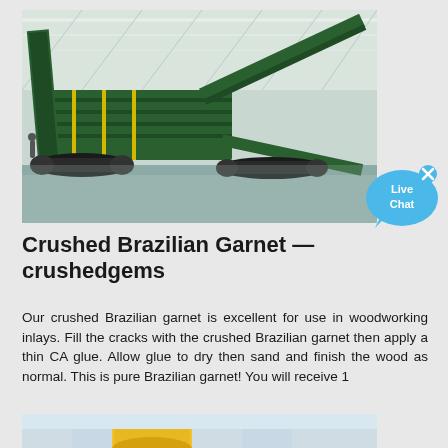[Figure (photo): Large green industrial mobile screening/crushing machine parked inside a warehouse with high metal roof. The machine has tracked undercarriage and tall angled conveyor belts.]
[Figure (illustration): Live Chat speech bubble icon in blue with white text 'Live Chat' and a small X close button in the upper right corner.]
Crushed Brazilian Garnet — crushedgems
Our crushed Brazilian garnet is excellent for use in woodworking inlays. Fill the cracks with the crushed Brazilian garnet then apply a thin CA glue. Allow glue to dry then sand and finish the wood as normal. This is pure Brazilian garnet! You will receive 1
[Figure (photo): Bottom portion of a yellow industrial crusher machine, partially cropped at the page bottom edge.]